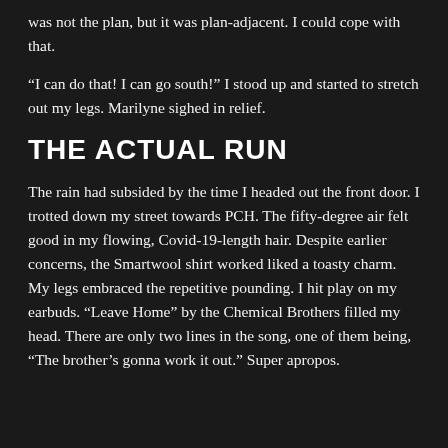was not the plan, but it was plan-adjacent. I could cope with that.
“I can do that! I can go south!” I stood up and started to stretch out my legs. Marilyne sighed in relief.
THE ACTUAL RUN
The rain had subsided by the time I headed out the front door. I trotted down my street towards PCH. The fifty-degree air felt good in my flowing, Covid-19-length hair. Despite earlier concerns, the Smartwool shirt worked liked a toasty charm. My legs embraced the repetitive pounding. I hit play on my earbuds. “Leave Home” by the Chemical Brothers filled my head. There are only two lines in the song, one of them being, “The brother’s gonna work it out.” Super apropos.